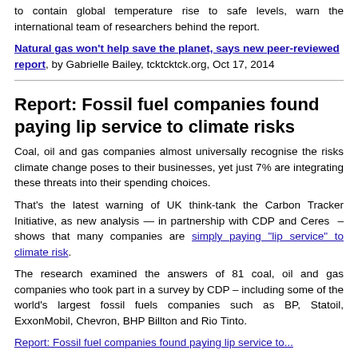to contain global temperature rise to safe levels, warn the international team of researchers behind the report.
Natural gas won't help save the planet, says new peer-reviewed report, by Gabrielle Bailey, tcktcktck.org, Oct 17, 2014
Report: Fossil fuel companies found paying lip service to climate risks
Coal, oil and gas companies almost universally recognise the risks climate change poses to their businesses, yet just 7% are integrating these threats into their spending choices.
That's the latest warning of UK think-tank the Carbon Tracker Initiative, as new analysis — in partnership with CDP and Ceres – shows that many companies are simply paying "lip service" to climate risk.
The research examined the answers of 81 coal, oil and gas companies who took part in a survey by CDP – including some of the world's largest fossil fuels companies such as BP, Statoil, ExxonMobil, Chevron, BHP Billton and Rio Tinto.
Report: Fossil fuel companies found paying lip service to...